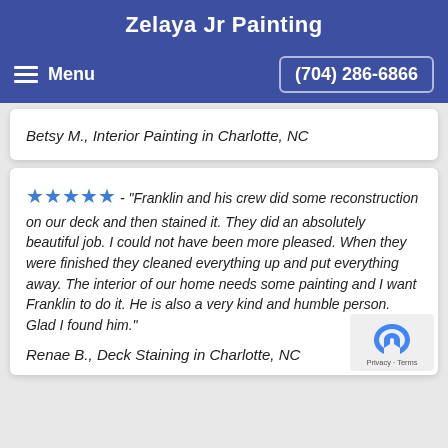Zelaya Jr Painting
Menu   (704) 286-6866
Betsy M., Interior Painting in Charlotte, NC
★★★★★ - "Franklin and his crew did some reconstruction on our deck and then stained it. They did an absolutely beautiful job. I could not have been more pleased. When they were finished they cleaned everything up and put everything away. The interior of our home needs some painting and I want Franklin to do it. He is also a very kind and humble person. Glad I found him."
Renae B., Deck Staining in Charlotte, NC